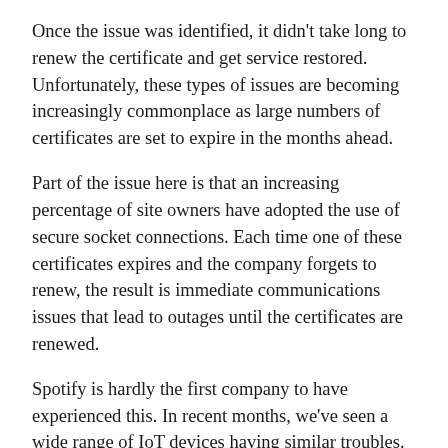Once the issue was identified, it didn't take long to renew the certificate and get service restored. Unfortunately, these types of issues are becoming increasingly commonplace as large numbers of certificates are set to expire in the months ahead.
Part of the issue here is that an increasing percentage of site owners have adopted the use of secure socket connections. Each time one of these certificates expires and the company forgets to renew, the result is immediate communications issues that lead to outages until the certificates are renewed.
Spotify is hardly the first company to have experienced this. In recent months, we've seen a wide range of IoT devices having similar troubles. A website associated with California's CalREDIE, which is an essential component of the state's COVID-19 case tracking infrastructure, went offline briefly due to this very issue.
Facebook's Tor server was briefly offline for the same reason, and even Microsoft Teams had issues. So the trouble isn't limited to a single industry, or companies of a certain size, or anything